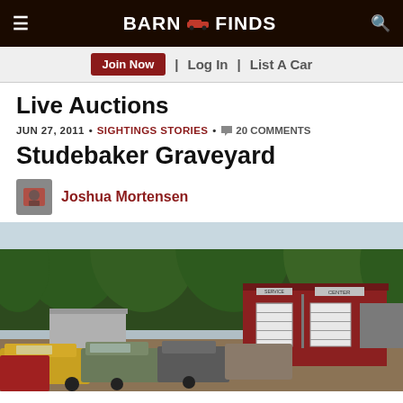BARN FINDS
Live Auctions
JUN 27, 2011 • SIGHTINGS STORIES • 20 COMMENTS
Studebaker Graveyard
Joshua Mortensen
[Figure (photo): Outdoor junkyard scene showing old cars parked in front of a red metal service center building with trees in the background]